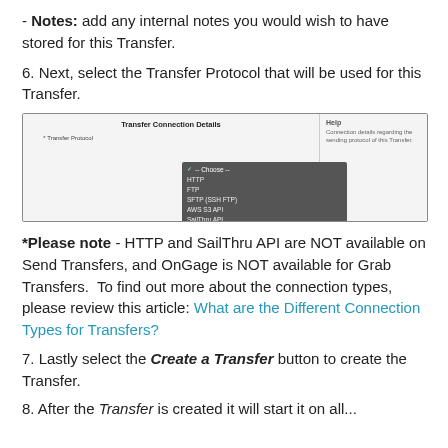- Notes: add any internal notes you would wish to have stored for this Transfer.
6. Next, select the Transfer Protocol that will be used for this Transfer.
[Figure (screenshot): Screenshot of Transfer Connection Details panel showing a dropdown menu open with options: -- Choose --, HTTP, FTP, SFTP (SSH FTP), AWS S3 API, SailThru API, OnGage API. A blue Transfer button is visible on the right. Help text on far right reads: Connection details regarding the sending protocol of this Transfer.]
*Please note - HTTP and SailThru API are NOT available on Send Transfers, and OnGage is NOT available for Grab Transfers.  To find out more about the connection types, please review this article: What are the Different Connection Types for Transfers?
7. Lastly select the Create a Transfer button to create the Transfer.
8. After the Transfer is created it will start it on all...